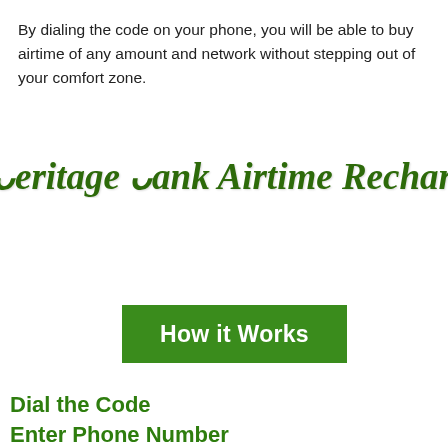By dialing the code on your phone, you will be able to buy airtime of any amount and network without stepping out of your comfort zone.
Heritage Bank Airtime Recharge Code
How it Works
Dial the Code
Enter Phone Number
Confirm the Transfer with PIN...